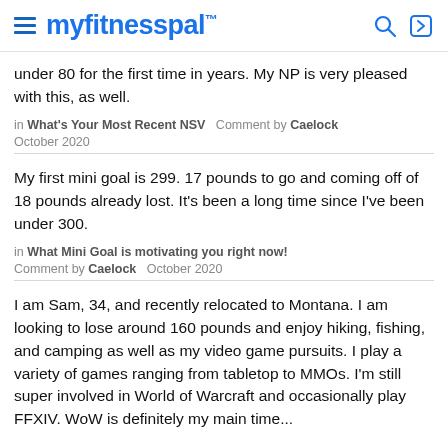myfitnesspal
under 80 for the first time in years. My NP is very pleased with this, as well.
in What's Your Most Recent NSV  Comment by Caelock  October 2020
My first mini goal is 299. 17 pounds to go and coming off of 18 pounds already lost. It's been a long time since I've been under 300.
in What Mini Goal is motivating you right now!  Comment by Caelock  October 2020
I am Sam, 34, and recently relocated to Montana. I am looking to lose around 160 pounds and enjoy hiking, fishing, and camping as well as my video game pursuits. I play a variety of games ranging from tabletop to MMOs. I'm still super involved in World of Warcraft and occasionally play FFXIV. WoW is definitely my main time...